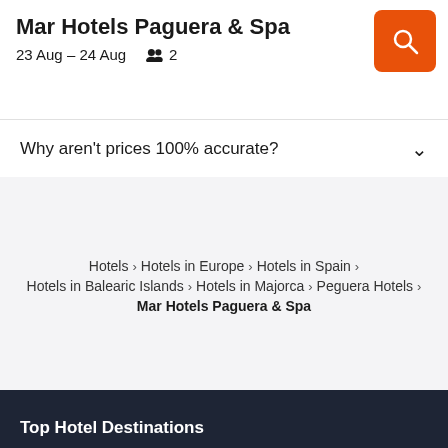Mar Hotels Paguera & Spa
23 Aug – 24 Aug  2
Why aren't prices 100% accurate?
Hotels > Hotels in Europe > Hotels in Spain > Hotels in Balearic Islands > Hotels in Majorca > Peguera Hotels > Mar Hotels Paguera & Spa
Top Hotel Destinations
Auckland Hotels
St. Louis Hotels
Osaka Hotels
Nadi Hotels
Ho Chi Minh City Hotels
Christchurch hotels